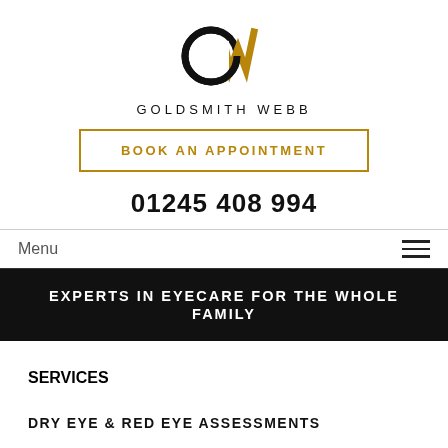[Figure (logo): Goldsmith Webb logo — stylized GW monogram with gold W and black G, above text GOLDSMITH WEBB]
BOOK AN APPOINTMENT
01245 408 994
Menu
EXPERTS IN EYECARE FOR THE WHOLE FAMILY
SERVICES
DRY EYE & RED EYE ASSESSMENTS